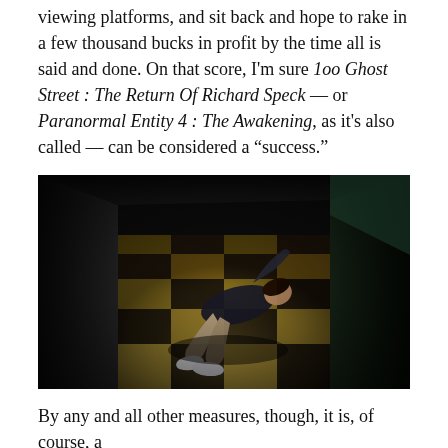viewing platforms, and sit back and hope to rake in a few thousand bucks in profit by the time all is said and done. On that score, I'm sure 1oo Ghost Street : The Return Of Richard Speck — or Paranormal Entity 4 : The Awakening, as it's also called — can be considered a "success."
[Figure (photo): A person lying on their back on a checkered floor in a dark corridor, with walls on either side. The scene is dimly lit, appearing to be from a horror film still.]
By any and all other measures, though, it is, of course, a